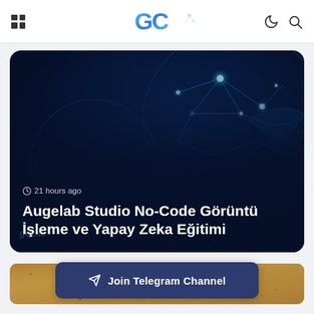GC — website header with grid menu icon, GC logo, moon/dark-mode icon, search icon
[Figure (screenshot): Dark navy card with glowing neural/brain network illustration on right side. Time stamp '21 hours ago' and article title in white bold text.]
21 hours ago
Augelab Studio No-Code Görüntü İşleme ve Yapay Zeka Eğitimi
[Figure (photo): Partial sandy/brown textured image strip at the bottom of the visible area]
Join Telegram Channel